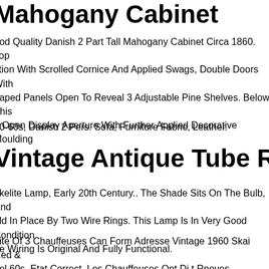Mahogany Cabinet
ood Quality Danish 2 Part Tall Mahogany Cabinet Circa 1860. Top
ction With Scrolled Cornice And Applied Swags, Double Doors With
haped Panels Open To Reveal 3 Adjustable Pine Shelves. Below This
n Open Display Aperture With Further Applied Decorative Moulding
50-60s, Danish 2 Pers. Sofa, Furniture Fabric, Leather.
Vintage Antique Tube Radio Tonfunk
nkelite Lamp, Early 20th Century.. The Shade Sits On The Bulb, And
eld In Place By Two Wire Rings. This Lamp Is In Very Good Condition
he Wiring Is Original And Fully Functional.
nite Of 3 Chauffeuses Can Form Adresse Vintage 1960 Skai Red &
eel 60s. Etat Correct. Les Chauffeuses Ont Dj t Rnoves. Diffrences D
inte Sur Une Chauffeuse. Hauteur 79.5 Cm. Hauteur Assise 37.5 Cm